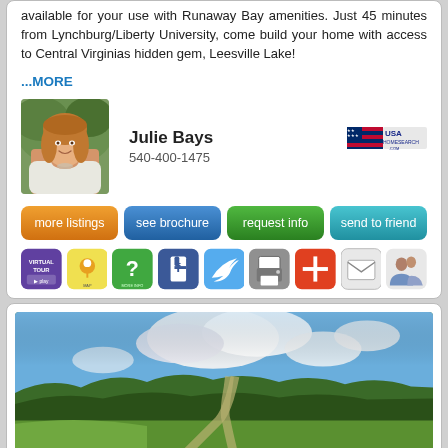available for your use with Runaway Bay amenities. Just 45 minutes from Lynchburg/Liberty University, come build your home with access to Central Virginias hidden gem, Leesville Lake!
...MORE
[Figure (photo): Headshot of real estate agent Julie Bays]
Julie Bays
540-400-1475
[Figure (logo): USA HomeSearch.com logo]
more listings
see brochure
request info
send to friend
[Figure (infographic): Row of action icons: Virtual Tour, Map, More Info, Facebook, Twitter, Print, Add, Email, Share]
[Figure (photo): Landscape photo showing a rural road, green fields, trees, and blue sky with clouds]